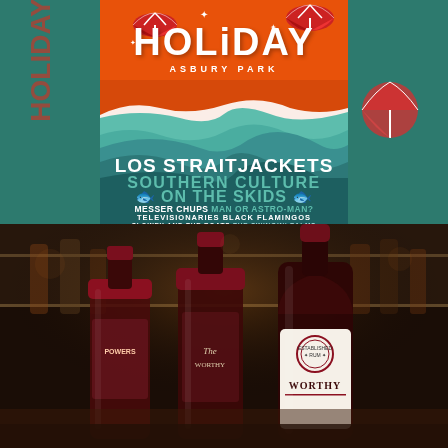[Figure (illustration): Holiday Asbury Park music festival poster with orange sky, teal waves, and mountain silhouettes. Band lineup includes: LOS STRAITJACKETS, SOUTHERN CULTURE ON THE SKIDS, MESSER CHUPS, MAN OR ASTRO-MAN?, TELEVISIONARIES, BLACK FLAMINGOS, SLOWEY AND THE BOATS, THE SWINGIN' PALMS. Decorative beach umbrellas and sparkle stars.]
[Figure (photo): Close-up photograph of three liquor bottles on a bar shelf. The rightmost bottle is labeled WORTHY. Bottles have dark red/burgundy caps. Background is blurred bar shelving.]